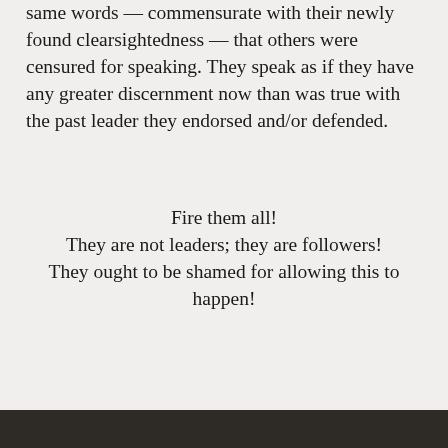same words — commensurate with their newly found clearsightedness — that others were censured for speaking. They speak as if they have any greater discernment now than was true with the past leader they endorsed and/or defended.
Fire them all!
They are not leaders; they are followers!
They ought to be shamed for allowing this to happen!